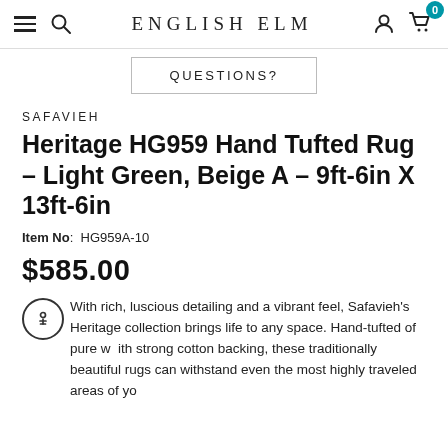ENGLISH ELM
QUESTIONS?
SAFAVIEH
Heritage HG959 Hand Tufted Rug - Light Green, Beige A - 9ft-6in X 13ft-6in
Item No: HG959A-10
$585.00
With rich, luscious detailing and a vibrant feel, Safavieh's Heritage collection brings life to any space. Hand-tufted of pure w ith strong cotton backing, these traditionally beautiful rugs can withstand even the most highly traveled areas of yo ur...